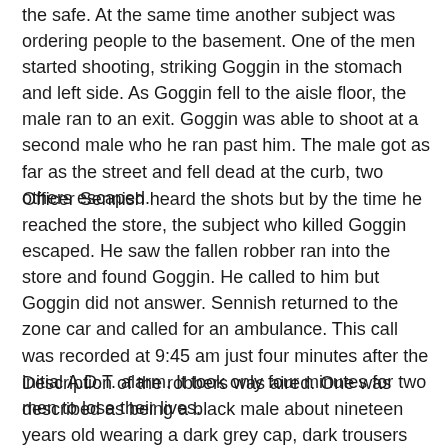the safe. At the same time another subject was ordering people to the basement. One of the men started shooting, striking Goggin in the stomach and left side. As Goggin fell to the aisle floor, the male ran to an exit. Goggin was able to shoot at a second male who he ran past him. The male got as far as the street and fell dead at the curb, two others escaped.
Officer Sennish heard the shots but by the time he reached the store, the subject who killed Goggin escaped. He saw the fallen robber ran into the store and found Goggin. He called to him but Goggin did not answer. Sennish returned to the zone car and called for an ambulance. This call was recorded at 9:45 am just four minutes after the initial A.D.T. alarm. It took only four minutes for two men to lose their lives.
Description of the robbers was aired. One was described as being a black male about nineteen years old wearing a dark grey cap, dark trousers with a light stripe, and a red sweater coat under a blue Chesterfield overcoat.